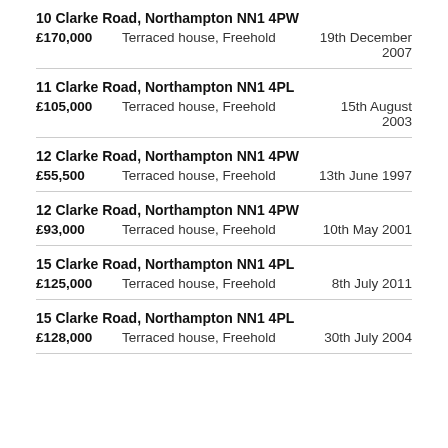10 Clarke Road, Northampton NN1 4PW | £170,000 | Terraced house, Freehold | 19th December 2007
11 Clarke Road, Northampton NN1 4PL | £105,000 | Terraced house, Freehold | 15th August 2003
12 Clarke Road, Northampton NN1 4PW | £55,500 | Terraced house, Freehold | 13th June 1997
12 Clarke Road, Northampton NN1 4PW | £93,000 | Terraced house, Freehold | 10th May 2001
15 Clarke Road, Northampton NN1 4PL | £125,000 | Terraced house, Freehold | 8th July 2011
15 Clarke Road, Northampton NN1 4PL | £128,000 | Terraced house, Freehold | 30th July 2004